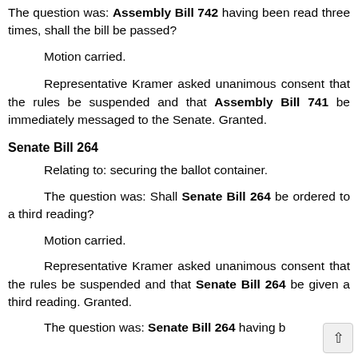The question was: Assembly Bill 742 having been read three times, shall the bill be passed?
Motion carried.
Representative Kramer asked unanimous consent that the rules be suspended and that Assembly Bill 741 be immediately messaged to the Senate. Granted.
Senate Bill 264
Relating to: securing the ballot container.
The question was: Shall Senate Bill 264 be ordered to a third reading?
Motion carried.
Representative Kramer asked unanimous consent that the rules be suspended and that Senate Bill 264 be given a third reading. Granted.
The question was: Senate Bill 264 having b...